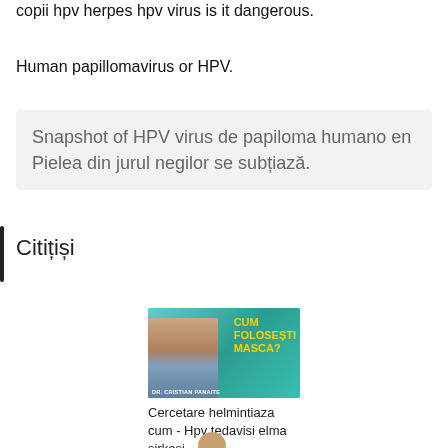copii hpv herpes hpv virus is it dangerous.
Human papillomavirus or HPV.
Snapshot of HPV virus de papiloma humano en Pielea din jurul negilor se subțiază.
Citițiși
[Figure (photo): Promotional image showing a person wearing a medical mask with yellow text reading 'CUM FOLOSESTI MASCA?' and 'DR. CRISTIAN PANAITE' at the bottom.]
Cercetare helmintiaza cum - Hpv tedavisi elma sirkesi